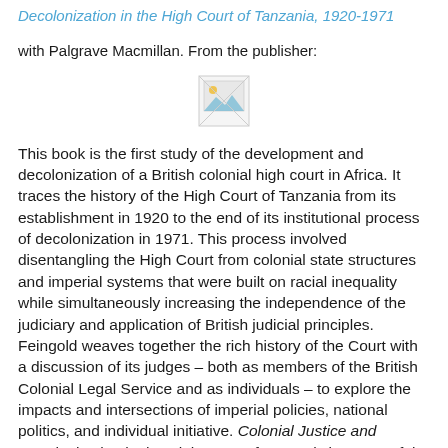Decolonization in the High Court of Tanzania, 1920-1971
with Palgrave Macmillan. From the publisher:
[Figure (other): Small broken image placeholder icon]
This book is the first study of the development and decolonization of a British colonial high court in Africa. It traces the history of the High Court of Tanzania from its establishment in 1920 to the end of its institutional process of decolonization in 1971. This process involved disentangling the High Court from colonial state structures and imperial systems that were built on racial inequality while simultaneously increasing the independence of the judiciary and application of British judicial principles.  Feingold weaves together the rich history of the Court with a discussion of its judges – both as members of the British Colonial Legal Service and as individuals – to explore the impacts and intersections of imperial policies, national politics, and individual initiative. Colonial Justice and Decolonization in the High Court of Tanzania is a powerful reminder